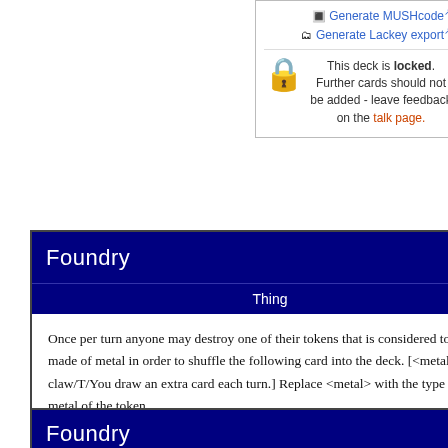Generate MUSHcode [external link]
Generate Lackey export [external link]
This deck is locked. Further cards should not be added - leave feedback on the talk page.
[Figure (other): Card named Foundry, cost 4L, type Thing. Text: Once per turn anyone may destroy one of their tokens that is considered to be made of metal in order to shuffle the following card into the deck. [<metal> claw/T/You draw an extra card each turn.] Replace <metal> with the type of metal of the token. Card by Ryan_1729.]
Card by Ryan_1729
[Figure (other): Partial view of second Foundry card header, cost 4L]